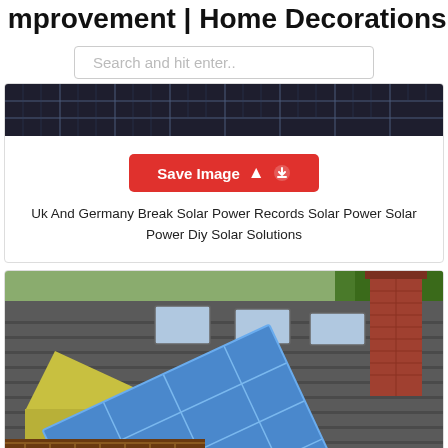mprovement | Home Decorations and
Search and hit enter..
[Figure (photo): Close-up of dark solar panels from above, cropped at top]
Save Image
Uk And Germany Break Solar Power Records Solar Power Solar Power Diy Solar Solutions
[Figure (photo): House roof with large blue solar panels installed, skylights visible, brick chimney on right, wooden porch railing below, green trees in background]